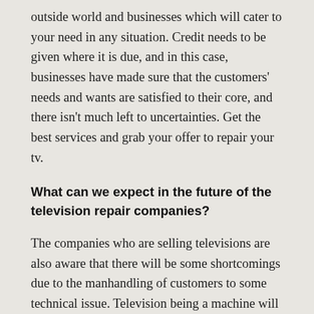outside world and businesses which will cater to your need in any situation. Credit needs to be given where it is due, and in this case, businesses have made sure that the customers' needs and wants are satisfied to their core, and there isn't much left to uncertainties. Get the best services and grab your offer to repair your tv.
What can we expect in the future of the television repair companies?
The companies who are selling televisions are also aware that there will be some shortcomings due to the manhandling of customers to some technical issue. Television being a machine will function properly for a specific breed of time, and he's got a life that will extend to a specific Time. What do you want to do is make sure that you capitalize on such